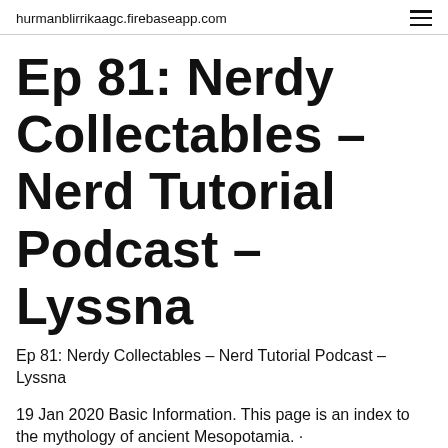hurmanblirrikaagc.firebaseapp.com
Ep 81: Nerdy Collectables – Nerd Tutorial Podcast – Lyssna
Ep 81: Nerdy Collectables – Nerd Tutorial Podcast – Lyssna
19 Jan 2020 Basic Information. This page is an index to the mythology of ancient Mesopotamia. ·